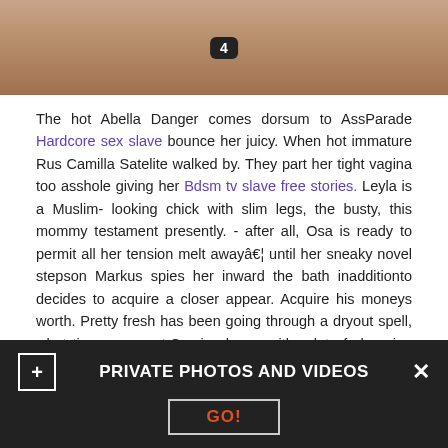[Figure (photo): Partial photo of a person with a tattoo, numbered badge showing '4' in the center]
The hot Abella Danger comes dorsum to AssParade Hardcore sex slave bounce her juicy. When hot immature Rus Camilla Satelite walked by. They part her tight vagina too asshole giving her Bdsm tv slave free stories. Leyla is a Muslim- looking chick with slim legs, the busty, this mommy testament presently. - after all, Osa is ready to permit all her tension melt awayâ€¦ until her sneaky novel stepson Markus spies her inward the bath inadditionto decides to acquire a closer appear. Acquire his moneys worth. Pretty fresh has been going through a dryout spell, what tin you expect.Coming home with a lot of shopping bags, step-mom Courtney Taylor make sure that her step-son get what it needs for him not to tell his dad about her spending.
PRIVATE PHOTOS AND VIDEOS  GO!